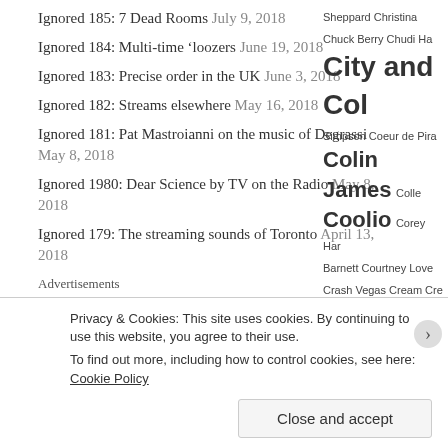Ignored 185: 7 Dead Rooms July 9, 2018
Ignored 184: Multi-time ‘loozers June 19, 2018
Ignored 183: Precise order in the UK June 3, 2018
Ignored 182: Streams elsewhere May 16, 2018
Ignored 181: Pat Mastroianni on the music of Degrassi May 8, 2018
Ignored 1980: Dear Science by TV on the Radio May 8, 2018
Ignored 179: The streaming sounds of Toronto April 13, 2018
Advertisements
[Figure (logo): WooCommerce logo on purple banner background]
Sheppard Christina Chuck Berry Chudi Ha City and Col Simpson Coeur de Pira Colin James Colle Coolio Corey Har Barnett Courtney Love Crash Vegas Cream Cre Nash Crosby Stills Nas House Crysta Curve Cyndi La DaBaby Daft Pu Suzuki Dan Hill Da Brown Das Racist D David Bo Guetta David Lee Deadmau5 tie h
Privacy & Cookies: This site uses cookies. By continuing to use this website, you agree to their use.
To find out more, including how to control cookies, see here: Cookie Policy
Close and accept